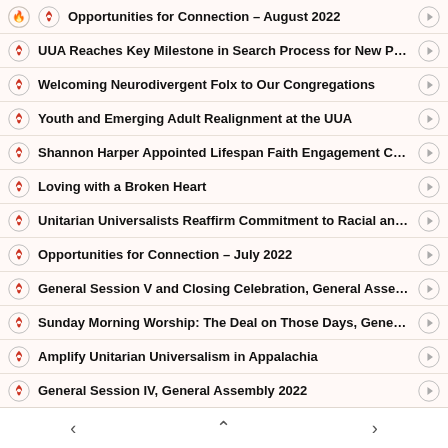Opportunities for Connection – August 2022
UUA Reaches Key Milestone in Search Process for New Presi...
Welcoming Neurodivergent Folx to Our Congregations
Youth and Emerging Adult Realignment at the UUA
Shannon Harper Appointed Lifespan Faith Engagement Co-...
Loving with a Broken Heart
Unitarian Universalists Reaffirm Commitment to Racial and ...
Opportunities for Connection – July 2022
General Session V and Closing Celebration, General Assembl...
Sunday Morning Worship: The Deal on Those Days, General ...
Amplify Unitarian Universalism in Appalachia
General Session IV, General Assembly 2022
UUs Join Protest of SCOTUS Ruling Overturning Roe v. Wade...